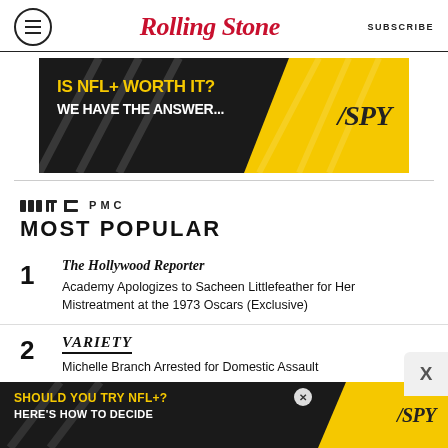Rolling Stone | SUBSCRIBE
[Figure (infographic): Advertisement banner: black background with diagonal yellow section. Text: 'IS NFL+ WORTH IT? WE HAVE THE ANSWER...' with SPY logo in yellow section.]
PMC
MOST POPULAR
1 Hollywood Reporter — Academy Apologizes to Sacheen Littlefeather for Her Mistreatment at the 1973 Oscars (Exclusive)
2 Variety — Michelle Branch Arrested for Domestic Assault
[Figure (infographic): Advertisement banner at bottom: black background with diagonal yellow section. Text: 'SHOULD YOU TRY NFL+? HERE'S HOW TO DECIDE' with SPY logo in yellow section.]